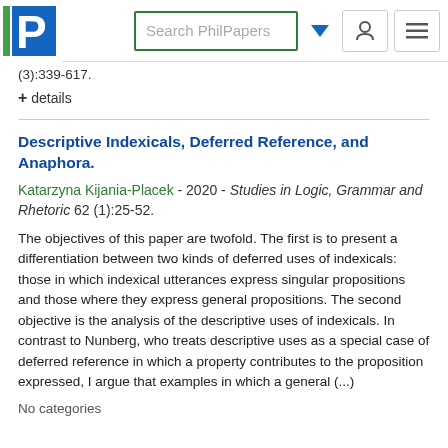Search PhilPapers
(3):339-617.
+ details
Descriptive Indexicals, Deferred Reference, and Anaphora.
Katarzyna Kijania-Placek - 2020 - Studies in Logic, Grammar and Rhetoric 62 (1):25-52.
The objectives of this paper are twofold. The first is to present a differentiation between two kinds of deferred uses of indexicals: those in which indexical utterances express singular propositions and those where they express general propositions. The second objective is the analysis of the descriptive uses of indexicals. In contrast to Nunberg, who treats descriptive uses as a special case of deferred reference in which a property contributes to the proposition expressed, I argue that examples in which a general (...)
No categories